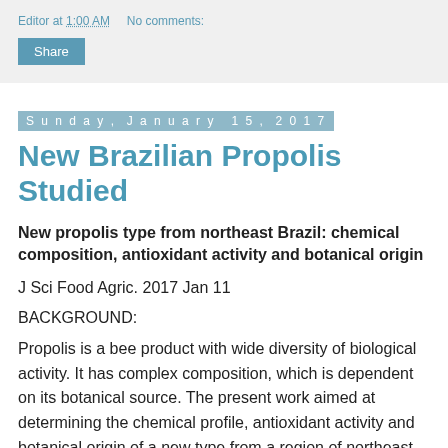Editor at 1:00 AM    No comments:
Share
Sunday, January 15, 2017
New Brazilian Propolis Studied
New propolis type from northeast Brazil: chemical composition, antioxidant activity and botanical origin
J Sci Food Agric. 2017 Jan 11
BACKGROUND:
Propolis is a bee product with wide diversity of biological activity. It has complex composition, which is dependent on its botanical source. The present work aimed at determining the chemical profile, antioxidant activity and botanical origin of a new type from a region of northeast Brazil, the